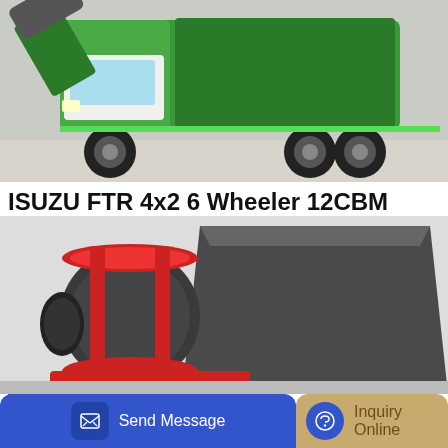[Figure (photo): ISUZU FTR 4x2 6 Wheeler 12CBM LHD Waste Collection Truck (green and white garbage truck) photographed from front-left angle on concrete surface]
ISUZU FTR 4x2 6 Wheeler 12CBM LHD Waste Collection Truck
High quality ISUZU FTR 4x2 6 Wheeler 12CBM LHD Waste Collection Truck from China, China's leading 12CBM Waste Collection Truck product, with strict quality control ISUZU FTR Waste Collection Truck factories, producing high quality LHD Sanitation Truck products.
[Figure (photo): Industrial machinery (mixer/drum and hopper) in a warehouse or outdoor setting with red and dark grey equipment visible]
Send Message
Inquiry Online